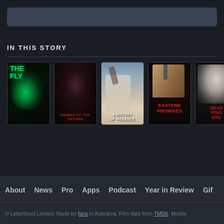[Figure (screenshot): Search bar / header input area with dark blue-gray background]
IN THIS STORY
[Figure (photo): Movie poster: The Fly]
[Figure (photo): Movie poster: Crimes of the Future]
[Figure (photo): Movie poster: A History of Violence]
[Figure (photo): Movie poster: Eastern Promises]
[Figure (photo): Movie poster: Dead Ringers (partially visible)]
About  News  Pro  Apps  Podcast  Year in Review  Gif
© Letterboxd Limited. Made by fans in Aotearoa. Film data from TMDb. Mobile